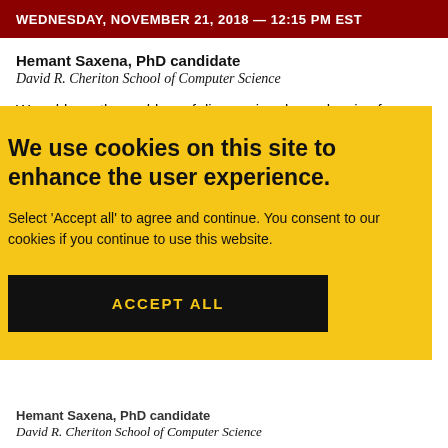WEDNESDAY, NOVEMBER 21, 2018 — 12:15 PM EST
Hemant Saxena, PhD candidate
David R. Cheriton School of Computer Science
We address the problem of discovering dependencies from distributed big data. Existing (non-distributed) algorithms focus
We use cookies on this site to enhance the user experience.
Select 'Accept all' to agree and continue. You consent to our cookies if you continue to use this website.
ACCEPT ALL
Hemant Saxena, PhD candidate
David R. Cheriton School of Computer Science